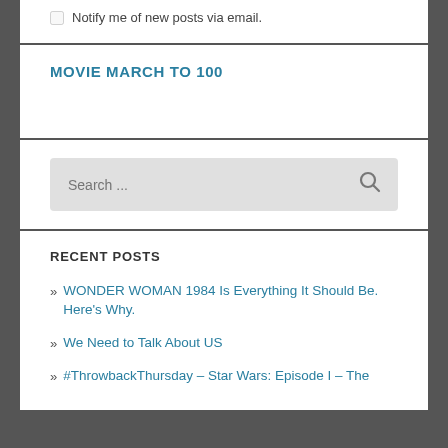Notify me of new posts via email.
MOVIE MARCH TO 100
Search ...
RECENT POSTS
WONDER WOMAN 1984 Is Everything It Should Be. Here's Why.
We Need to Talk About US
#ThrowbackThursday – Star Wars: Episode I – The